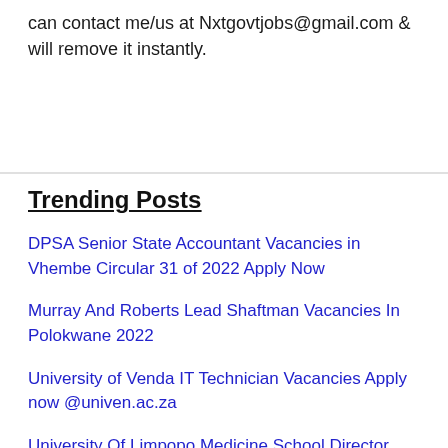can contact me/us at Nxtgovtjobs@gmail.com & will remove it instantly.
Trending Posts
DPSA Senior State Accountant Vacancies in Vhembe Circular 31 of 2022 Apply Now
Murray And Roberts Lead Shaftman Vacancies In Polokwane 2022
University of Venda IT Technician Vacancies Apply now @univen.ac.za
University Of Limpopo Medicine School Director Vacancies Apply now @ul.ac.za
University of Venda HOD ICT Governance